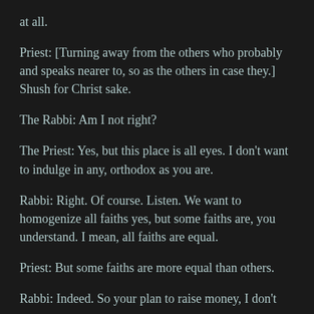at all.
Priest: [Turning away from the others who probably and speaks nearer to, so as the others in case they.]  Shush for Christ sake.
The Rabbi: Am I not right?
The Priest: Yes, but this place is all eyes. I don't want to indulge in any, orthodox as you are.
Rabbi: Right. Of course. Listen. We want to homogenize all faiths yes, but some faiths are, you understand. I mean, all faiths are equal.
Priest: But some faiths are more equal than others.
Rabbi: Indeed. So your plan to raise money, I don't